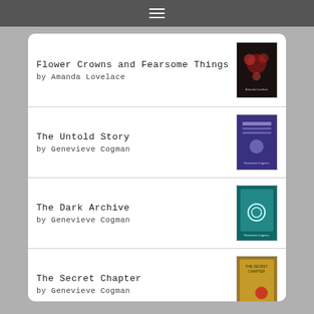≡ (hamburger menu icon)
Flower Crowns and Fearsome Things by Amanda Lovelace
The Untold Story by Genevieve Cogman
The Dark Archive by Genevieve Cogman
The Secret Chapter by Genevieve Cogman
[Figure (logo): goodreads logo with rounded rectangle border]